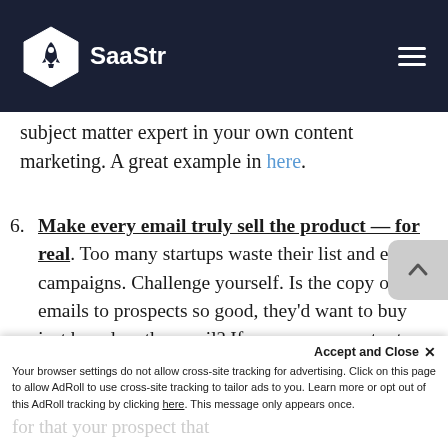SaaStr
subject matter expert in your own content marketing. A great example in here.
6. Make every email truly sell the product — for real. Too many startups waste their list and email campaigns. Challenge yourself. Is the copy of your emails to prospects so good, they'd want to buy just based on the email? If so, your connect rates will be high. Aim
Accept and Close ✕
Your browser settings do not allow cross-site tracking for advertising. Click on this page to allow AdRoll to use cross-site tracking to tailor ads to you. Learn more or opt out of this AdRoll tracking by clicking here. This message only appears once.